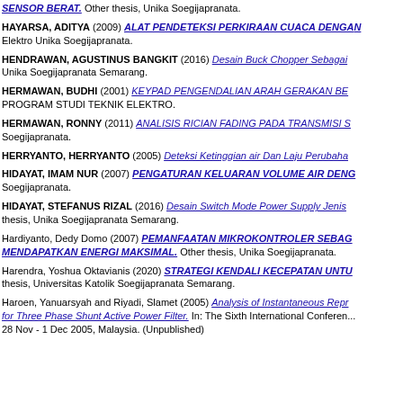Other thesis, Unika Soegijapranata.
HAYARSA, ADITYA (2009) ALAT PENDETEKSI PERKIRAAN CUACA DENGAN... Elektro Unika Soegijapranata.
HENDRAWAN, AGUSTINUS BANGKIT (2016) Desain Buck Chopper Sebagai... Unika Soegijapranata Semarang.
HERMAWAN, BUDHI (2001) KEYPAD PENGENDALIAN ARAH GERAKAN BE... PROGRAM STUDI TEKNIK ELEKTRO.
HERMAWAN, RONNY (2011) ANALISIS RICIAN FADING PADA TRANSMISI S... Soegijapranata.
HERRYANTO, HERRYANTO (2005) Deteksi Ketinggian air Dan Laju Perubaha...
HIDAYAT, IMAM NUR (2007) PENGATURAN KELUARAN VOLUME AIR DENG... Soegijapranata.
HIDAYAT, STEFANUS RIZAL (2016) Desain Switch Mode Power Supply Jenis... thesis, Unika Soegijapranata Semarang.
Hardiyanto, Dedy Domo (2007) PEMANFAATAN MIKROKONTROLER SEBAG... MENDAPATKAN ENERGI MAKSIMAL. Other thesis, Unika Soegijapranata.
Harendra, Yoshua Oktavianis (2020) STRATEGI KENDALI KECEPATAN UNTU... thesis, Universitas Katolik Soegijapranata Semarang.
Haroen, Yanuarsyah and Riyadi, Slamet (2005) Analysis of Instantaneous Repr... for Three Phase Shunt Active Power Filter. In: The Sixth International Conferen... 28 Nov - 1 Dec 2005, Malaysia. (Unpublished)